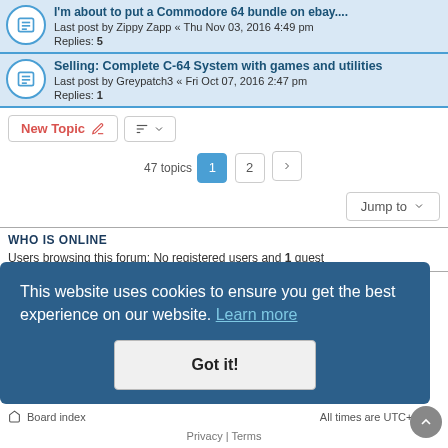I'm about to put a Commodore 64 bundle on ebay.... Last post by Zippy Zapp « Thu Nov 03, 2016 4:49 pm Replies: 5
Selling: Complete C-64 System with games and utilities Last post by Greypatch3 « Fri Oct 07, 2016 2:47 pm Replies: 1
47 topics  1  2  >
Jump to
WHO IS ONLINE
Users browsing this forum: No registered users and 1 guest
FORUM PERMISSIONS
You cannot post new topics in this forum
You cannot reply to topics in this forum
You cannot edit your posts in this forum
You cannot delete your posts in this forum
This website uses cookies to ensure you get the best experience on our website. Learn more
Got it!
Board index  All times are UTC+01:00
Privacy | Terms